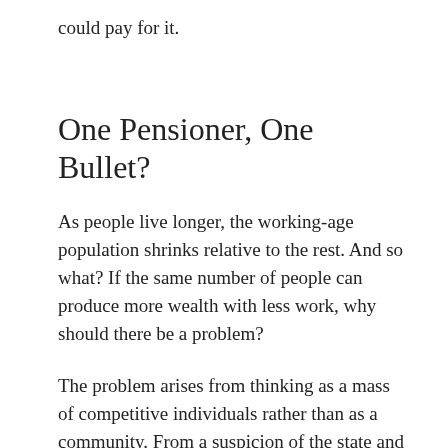could pay for it.
One Pensioner, One Bullet?
As people live longer, the working-age population shrinks relative to the rest. And so what? If the same number of people can produce more wealth with less work, why should there be a problem?
The problem arises from thinking as a mass of competitive individuals rather than as a community. From a suspicion of the state and the acceptance of private wealth as ‘natural’.